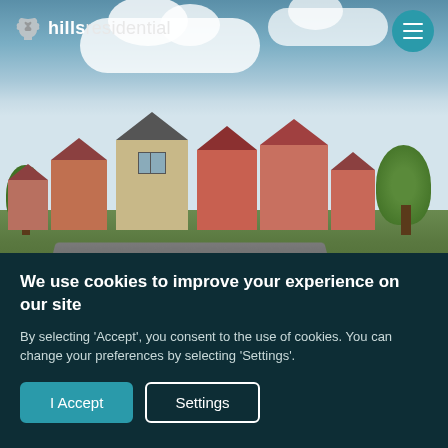[Figure (photo): Hero image of a residential housing development with multiple brick houses, trees, grass lawn, and cloudy sky. Hills Residential website screenshot.]
hills residential
We use cookies to improve your experience on our site
By selecting 'Accept', you consent to the use of cookies. You can change your preferences by selecting 'Settings'.
I Accept
Settings